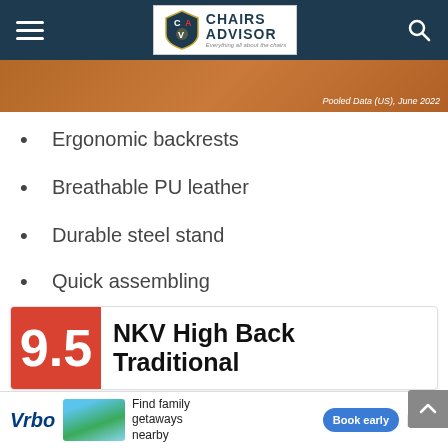Chairs Advisor — Everything all about the chairs
[Figure (other): Orange/brown decorative banner strip with text 'Pooled Data (US), June 2022' in italic white at bottom right]
Ergonomic backrests
Breathable PU leather
Durable steel stand
Quick assembling
Adjustable and rocking functions
300 pounds weight capacity
NKV High Back Traditional
[Figure (other): Vrbo advertisement banner: Vrbo logo, vacation house image, 'Find family getaways nearby' text, 'Book early' blue button]